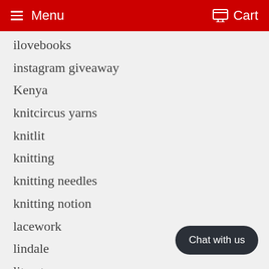Menu  Cart
ilovebooks
instagram giveaway
Kenya
knitcircus yarns
knitlit
knitting
knitting needles
knitting notion
lacework
lindale
literature
mcknittey
mcknittey roadshow
mkal
Chat with us